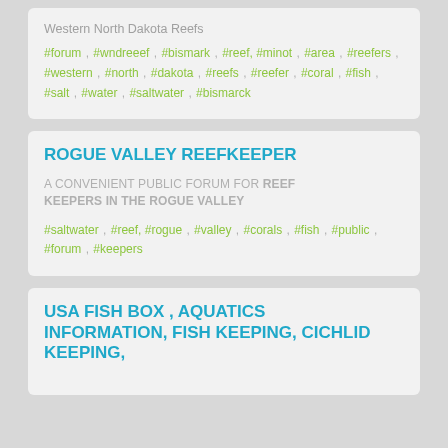Western North Dakota Reefs
#forum , #wndreeef , #bismark , #reef, #minot , #area , #reefers , #western , #north , #dakota , #reefs , #reefer , #coral , #fish , #salt , #water , #saltwater , #bismarck
ROGUE VALLEY REEFKEEPER
A CONVENIENT PUBLIC FORUM FOR REEF KEEPERS IN THE ROGUE VALLEY
#saltwater , #reef, #rogue , #valley , #corals , #fish , #public , #forum , #keepers
USA FISH BOX , AQUATICS INFORMATION, FISH KEEPING, CICHLID KEEPING,